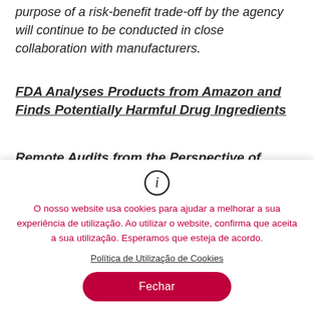the evaluation for each drug product for the purpose of a risk-benefit trade-off by the agency will continue to be conducted in close collaboration with manufacturers.
FDA Analyses Products from Amazon and Finds Potentially Harmful Drug Ingredients
Remote Audits from the Perspective of Notified Bodies
O nosso website usa cookies para ajudar a melhorar a sua experiência de utilização. Ao utilizar o website, confirma que aceita a sua utilização. Esperamos que esteja de acordo.
Política de Utilização de Cookies
Fechar